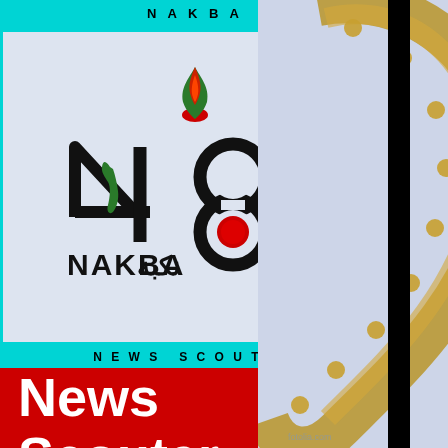NAKBA
[Figure (logo): Nakba 48 logo with flame, map of Palestine in green, and Arabic text 'نكبة' alongside 'NAKBA' text]
NEWS SCOUTER
[Figure (logo): News Scouter logo: red rectangle with white bold text 'News Scouter']
[Figure (photo): Decorative bronze/gold Nataraja ring or circular ornament with lion/animal heads, partially visible on right side of page]